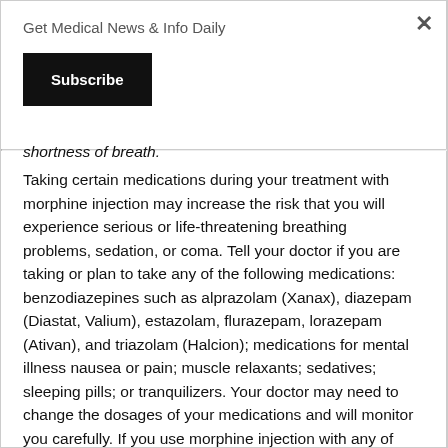Get Medical News & Info Daily
Subscribe
shortness of breath.
Taking certain medications during your treatment with morphine injection may increase the risk that you will experience serious or life-threatening breathing problems, sedation, or coma. Tell your doctor if you are taking or plan to take any of the following medications: benzodiazepines such as alprazolam (Xanax), diazepam (Diastat, Valium), estazolam, flurazepam, lorazepam (Ativan), and triazolam (Halcion); medications for mental illness nausea or pain; muscle relaxants; sedatives; sleeping pills; or tranquilizers. Your doctor may need to change the dosages of your medications and will monitor you carefully. If you use morphine injection with any of these medications and you develop any of the following symptoms, call your doctor immediately or seek